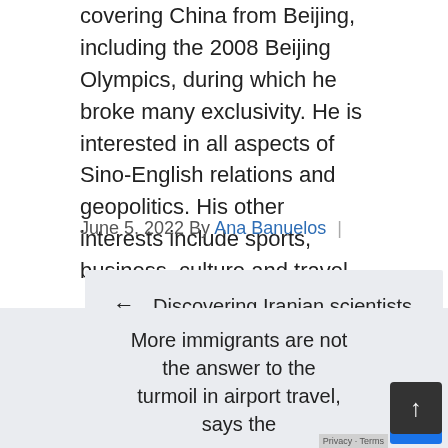covering China from Beijing, including the 2008 Beijing Olympics, during which he broke many exclusivity. He is interested in all aspects of Sino-English relations and geopolitics. His other interests include sports, business, culture and travel.
June 5, 2022 By Ana Banuelos |
← Discovering Iranian scientists and senior officers dying in a mysterious situation in a new wave of tension between Iran and Israel
More immigrants are not the answer to the turmoil in airport travel, says the